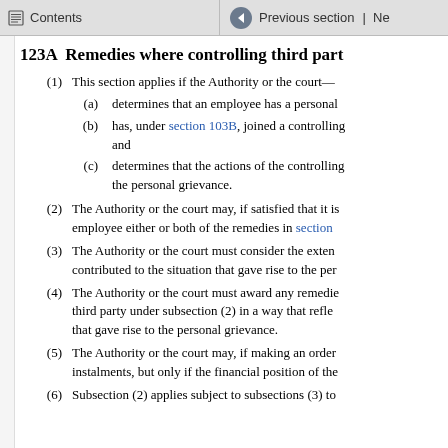Contents | Previous section | Ne...
123A  Remedies where controlling third part...
(1)  This section applies if the Authority or the court—
(a)  determines that an employee has a personal...
(b)  has, under section 103B, joined a controlling... and
(c)  determines that the actions of the controlling... the personal grievance.
(2)  The Authority or the court may, if satisfied that it is... employee either or both of the remedies in section...
(3)  The Authority or the court must consider the exten... contributed to the situation that gave rise to the per...
(4)  The Authority or the court must award any remedie... third party under subsection (2) in a way that refle... that gave rise to the personal grievance.
(5)  The Authority or the court may, if making an order... instalments, but only if the financial position of the...
(6)  Subsection (2) applies subject to subsections (3) t...